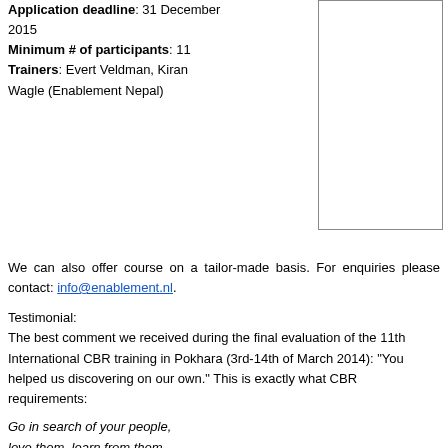Application deadline: 31 December 2015
Minimum # of participants: 11
Trainers: Evert Veldman, Kiran Wagle (Enablement Nepal)
[Figure (other): Empty bordered box on the right side of the page]
We can also offer course on a tailor-made basis. For enquiries please contact: info@enablement.nl.
Testimonial:
The best comment we received during the final evaluation of the 11th International CBR training in Pokhara (3rd-14th of March 2014): "You helped us discovering on our own." This is exactly what CBR requirements:
Go in search of your people,
love them, learn from them,
plan with them, serve them,
begin with what they have,
build on what they know,
but of the best leaders when the task is accomplished,